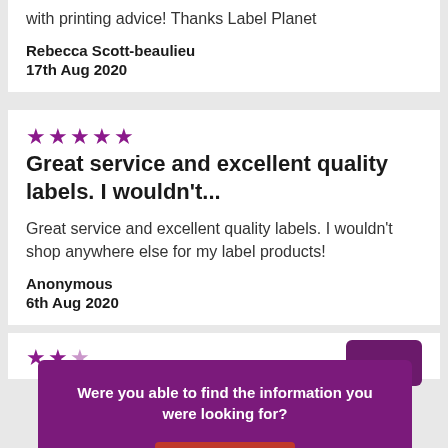with printing advice! Thanks Label Planet
Rebecca Scott-beaulieu
17th Aug 2020
[Figure (other): Five purple star rating icons]
Great service and excellent quality labels. I wouldn't...
Great service and excellent quality labels. I wouldn't shop anywhere else for my label products!
Anonymous
6th Aug 2020
[Figure (other): Purple dropdown toggle button with chevron-down arrow]
Were you able to find the information you were looking for?
Reply
[Figure (other): Two and a half purple star rating icons (partial view)]